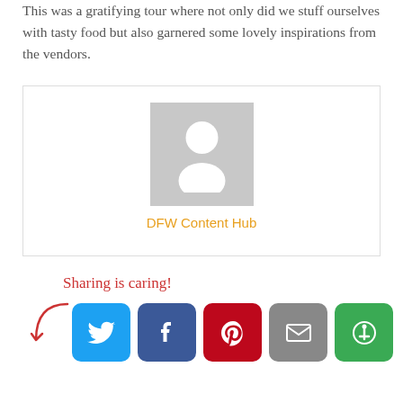This was a gratifying tour where not only did we stuff ourselves with tasty food but also garnered some lovely inspirations from the vendors.
[Figure (other): Author box with placeholder avatar image and author name 'DFW Content Hub' in orange text, bordered box]
Sharing is caring!
[Figure (infographic): Social sharing buttons row: Twitter (blue), Facebook (dark blue), Pinterest (red), Email (gray), More (green), with a red arrow pointing to them]